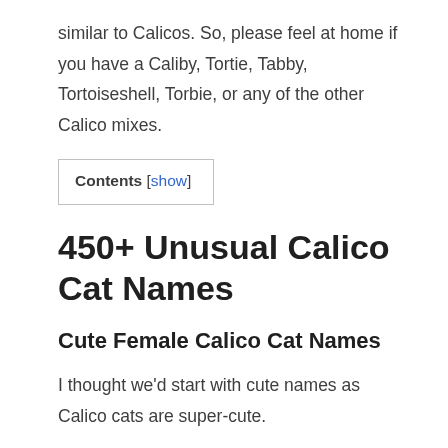similar to Calicos. So, please feel at home if you have a Caliby, Tortie, Tabby, Tortoiseshell, Torbie, or any of the other Calico mixes.
Contents [show]
450+ Unusual Calico Cat Names
Cute Female Calico Cat Names
I thought we'd start with cute names as Calico cats are super-cute.
Abby